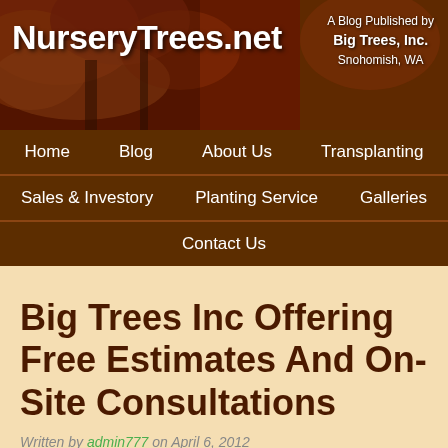NurseryTrees.net — A Blog Published by Big Trees, Inc. Snohomish, WA
[Figure (screenshot): Website navigation banner with autumn tree background image, site logo 'NurseryTrees.net' and tagline 'A Blog Published by Big Trees, Inc. Snohomish, WA']
Home | Blog | About Us | Transplanting | Sales & Investory | Planting Service | Galleries | Contact Us
Big Trees Inc Offering Free Estimates And On-Site Consultations
Written by admin777 on April 6, 2012
Tree Transplant Specialist and Supplier Announcing Its Free Estimate Program